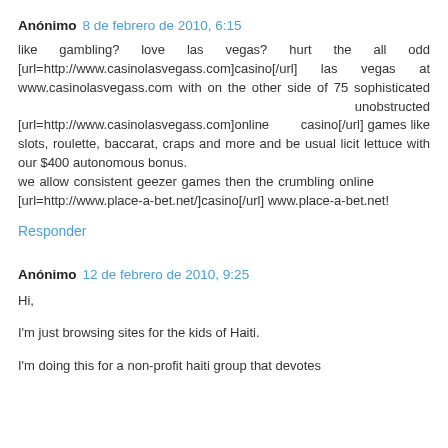Anónimo 8 de febrero de 2010, 6:15
like gambling? love las vegas? hurt the all odd [url=http://www.casinolasvegass.com]casino[/url] las vegas at www.casinolasvegass.com with on the other side of 75 sophisticated unobstructed [url=http://www.casinolasvegass.com]online casino[/url] games like slots, roulette, baccarat, craps and more and be usual licit lettuce with our $400 autonomous bonus.
we allow consistent geezer games then the crumbling online [url=http://www.place-a-bet.net/]casino[/url] www.place-a-bet.net!
Responder
Anónimo 12 de febrero de 2010, 9:25
Hi,
I'm just browsing sites for the kids of Haiti.
I'm doing this for a non-profit haiti group that devotes